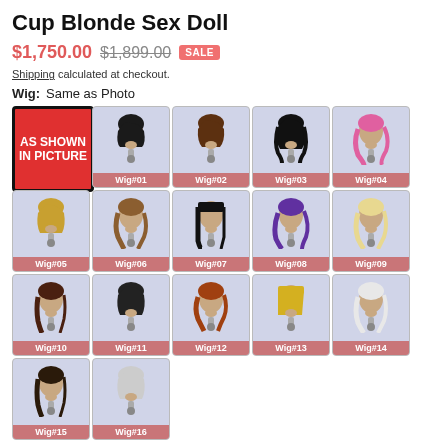Cup Blonde Sex Doll
$1,750.00  $1,899.00  SALE
Shipping calculated at checkout.
Wig:  Same as Photo
[Figure (other): Grid of 16 wig options plus 'As Shown In Picture' option. Options labeled Wig#01 through Wig#16 showing mannequin heads with different hair styles and colors on a light purple/blue background. Each wig option is displayed in a small card with the wig number below.]